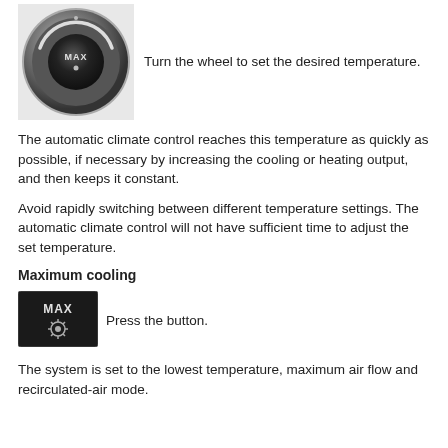[Figure (illustration): A circular dial/wheel control with MAX label and a dot indicator in the center, shown in metallic dark gray tones with a light gray background]
Turn the wheel to set the desired temperature.
The automatic climate control reaches this temperature as quickly as possible, if necessary by increasing the cooling or heating output, and then keeps it constant.
Avoid rapidly switching between different temperature settings. The automatic climate control will not have sufficient time to adjust the set temperature.
Maximum cooling
[Figure (illustration): A rectangular button with black background showing MAX text and a gear/snowflake icon below it]
Press the button.
The system is set to the lowest temperature, maximum air flow and recirculated-air mode.